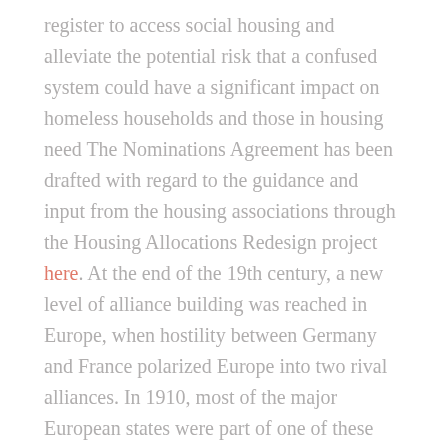register to access social housing and alleviate the potential risk that a confused system could have a significant impact on homeless households and those in housing need The Nominations Agreement has been drafted with regard to the guidance and input from the housing associations through the Housing Allocations Redesign project here. At the end of the 19th century, a new level of alliance building was reached in Europe, when hostility between Germany and France polarized Europe into two rival alliances. In 1910, most of the major European states were part of one of these great opposing alliances: the central powers, whose main members were Germany and Austria-Hungary, and the allies, composed of France, Russia and Great Britain. This bipolar system had a destabilizing effect, as the conflict between two members of the opposing blocs led to the risk of a general war formal agreement between states. Death ( 1710.2) If a death has occurred within the